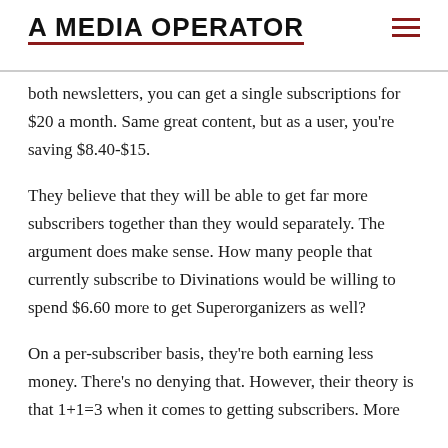A MEDIA OPERATOR
both newsletters, you can get a single subscriptions for $20 a month. Same great content, but as a user, you're saving $8.40-$15.
They believe that they will be able to get far more subscribers together than they would separately. The argument does make sense. How many people that currently subscribe to Divinations would be willing to spend $6.60 more to get Superorganizers as well?
On a per-subscriber basis, they're both earning less money. There's no denying that. However, their theory is that 1+1=3 when it comes to getting subscribers. More